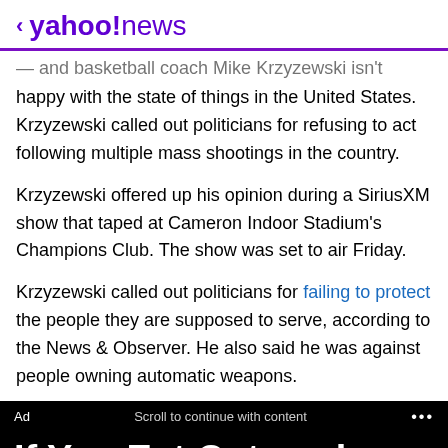< yahoo!news
— and basketball coach Mike Krzyzewski isn't happy with the state of things in the United States. Krzyzewski called out politicians for refusing to act following multiple mass shootings in the country.
Krzyzewski offered up his opinion during a SiriusXM show that taped at Cameron Indoor Stadium's Champions Club. The show was set to air Friday.
Krzyzewski called out politicians for failing to protect the people they are supposed to serve, according to the News & Observer. He also said he was against people owning automatic weapons.
Ad   Scroll to continue with content   ...
If You Eat Oatmeal Every Day, This Is What